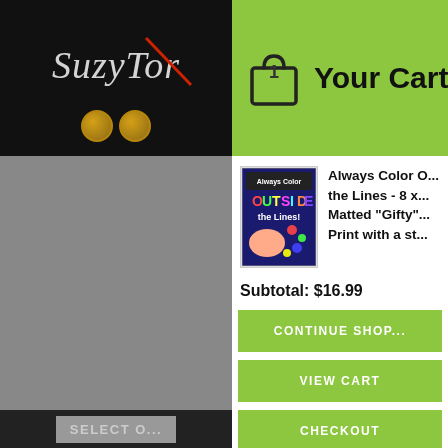[Figure (logo): SuzyTor logo text in white italic script on black background, with two gold medals below]
[Figure (screenshot): Gray area representing the left panel/background of the website]
SELECT O...
Your Cart
Always Color O...the Lines - 8 x...Matted "Gifty"...Print with a st...
Subtotal: $16.99
CONTINUE SHOP...
VIEW CART
CHECKOUT